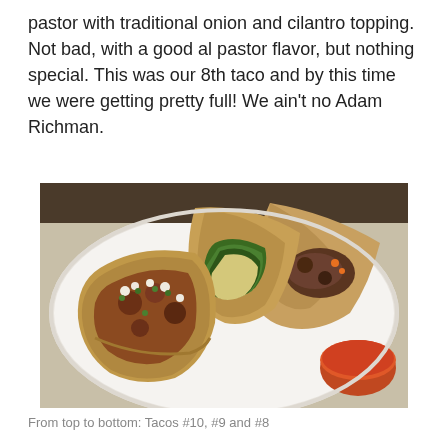pastor with traditional onion and cilantro topping. Not bad, with a good al pastor flavor, but nothing special. This was our 8th taco and by this time we were getting pretty full! We ain't no Adam Richman.
[Figure (photo): Photograph of several tacos on a white plate, with a small cup of red salsa. The tacos are filled with various ingredients including meat, greens, and onion with cilantro toppings.]
From top to bottom: Tacos #10, #9 and #8